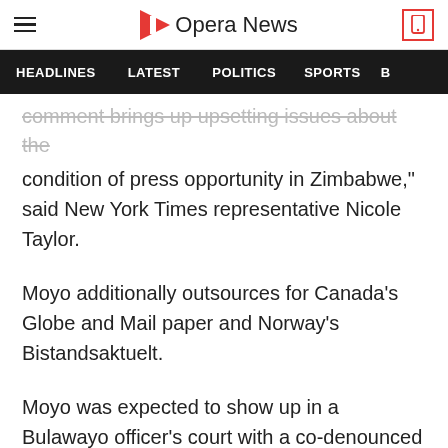Opera News
HEADLINES  LATEST  POLITICS  SPORTS
comment brings up upsetting issues about the condition of press opportunity in Zimbabwe," said New York Times representative Nicole Taylor.
Moyo additionally outsources for Canada's Globe and Mail paper and Norway's Bistandsaktuelt.
Moyo was expected to show up in a Bulawayo officer's court with a co-denounced [Zimbabwe] Media Commission